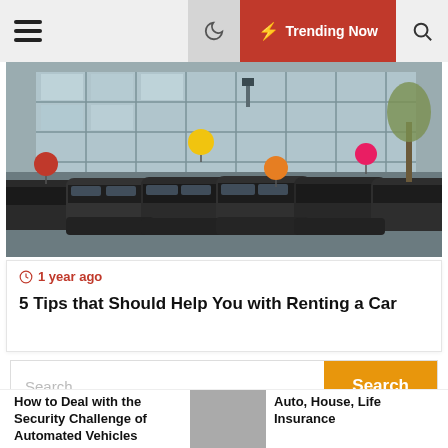☰ 🌙 ⚡ Trending Now 🔍
[Figure (photo): A car dealership parking lot filled with multiple rows of vehicles, some decorated with colorful balloons (red, yellow, orange, pink), with a large glass-fronted building in the background.]
1 year ago
5 Tips that Should Help You with Renting a Car
Search ...
Recent Posts
How to Deal with the Security Challenge of Automated Vehicles
Auto, House, Life Insurance